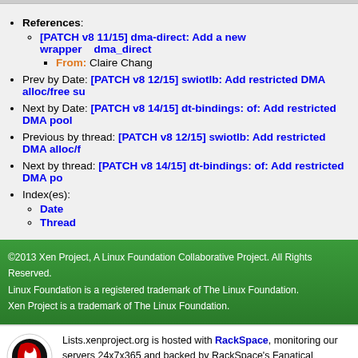References:
[PATCH v8 11/15] dma-direct: Add a new wrapper    dma_direct
From: Claire Chang
Prev by Date: [PATCH v8 12/15] swiotlb: Add restricted DMA alloc/free su
Next by Date: [PATCH v8 14/15] dt-bindings: of: Add restricted DMA pool
Previous by thread: [PATCH v8 12/15] swiotlb: Add restricted DMA alloc/f
Next by thread: [PATCH v8 14/15] dt-bindings: of: Add restricted DMA po
Index(es):
Date
Thread
©2013 Xen Project, A Linux Foundation Collaborative Project. All Rights Reserved. Linux Foundation is a registered trademark of The Linux Foundation. Xen Project is a trademark of The Linux Foundation.
Lists.xenproject.org is hosted with RackSpace, monitoring our servers 24x7x365 and backed by RackSpace's Fanatical Support®.